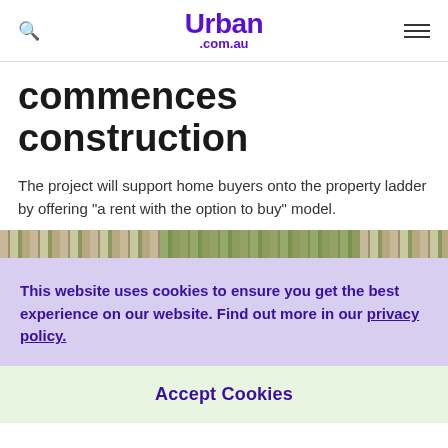Urban .com.au
commences construction
The project will support home buyers onto the property ladder by offering "a rent with the option to buy" model.
[Figure (photo): Partial view of a building facade and trees, cropped image strip]
This website uses cookies to ensure you get the best experience on our website. Find out more in our privacy policy.
Accept Cookies